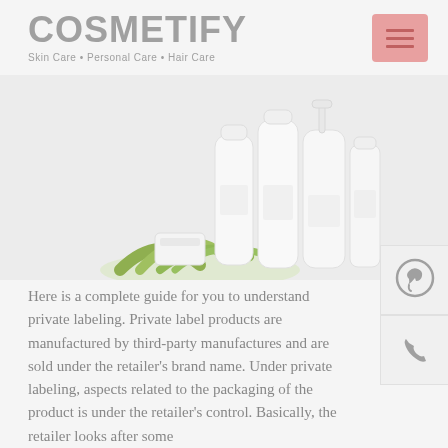COSMETIFY
Skin Care • Personal Care • Hair Care
[Figure (photo): Skincare product bottles and containers arranged together with green aloe vera leaves, white cosmetic packaging on light grey background]
Here is a complete guide for you to understand private labeling. Private label products are manufactured by third-party manufactures and are sold under the retailer's brand name. Under private labeling, aspects related to the packaging of the product is under the retailer's control. Basically, the retailer looks after some